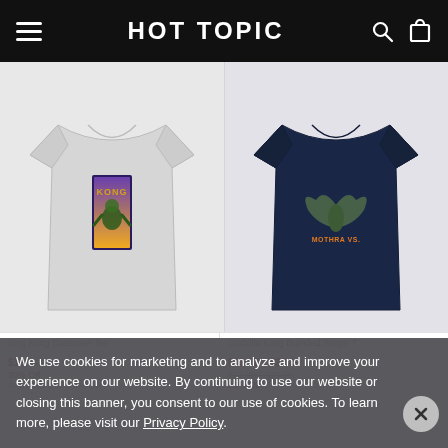HOT TOPIC
[Figure (photo): Light gray t-shirt with Kong graphic print on chest]
[Figure (photo): Navy blue t-shirt with Mothra/Godzilla graphic print on chest]
King Kong Specimen Tee
$19 sale price, $23 original, 20% Off, Additional colors available
Godzilla Kong Branded Ringer T
$19.12 – $22.32 sale, $23.90 – $27.90 original, 20% Off
We use cookies for marketing and to analyze and improve your experience on our website. By continuing to use our website or closing this banner, you consent to our use of cookies. To learn more, please visit our Privacy Policy.